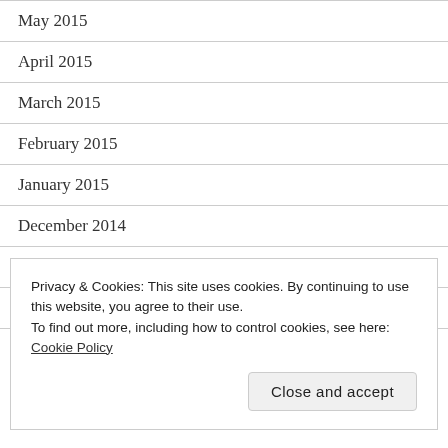May 2015
April 2015
March 2015
February 2015
January 2015
December 2014
November 2014
September 2014
August 2014
Privacy & Cookies: This site uses cookies. By continuing to use this website, you agree to their use.
To find out more, including how to control cookies, see here:
Cookie Policy
Close and accept